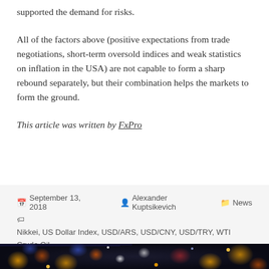supported the demand for risks.
All of the factors above (positive expectations from trade negotiations, short-term oversold indices and weak statistics on inflation in the USA) are not capable to form a sharp rebound separately, but their combination helps the markets to form the ground.
This article was written by FxPro
September 13, 2018   Alexander Kuptsikevich   News
Nikkei, US Dollar Index, USD/ARS, USD/CNY, USD/TRY, WTI Crude Oil
[Figure (photo): Blurred bokeh photo of city lights and financial data displays at night, featuring colorful dots of light in orange, yellow, white, and blue tones with a dark background.]